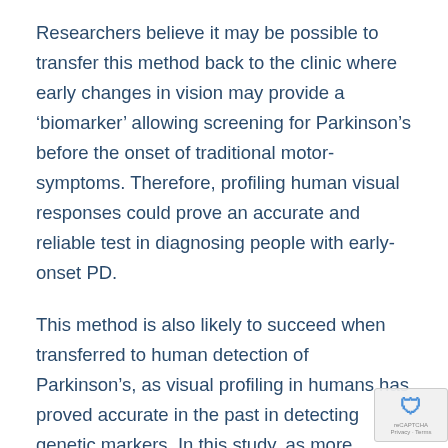Researchers believe it may be possible to transfer this method back to the clinic where early changes in vision may provide a ‘biomarker’ allowing screening for Parkinson’s before the onset of traditional motor-symptoms. Therefore, profiling human visual responses could prove an accurate and reliable test in diagnosing people with early-onset PD.
This method is also likely to succeed when transferred to human detection of Parkinson’s, as visual profiling in humans has proved accurate in the past in detecting genetic markers. In this study, as more complex light stimulations have been used, a more accurate picture of detecting a wider variety of different genetic markers.